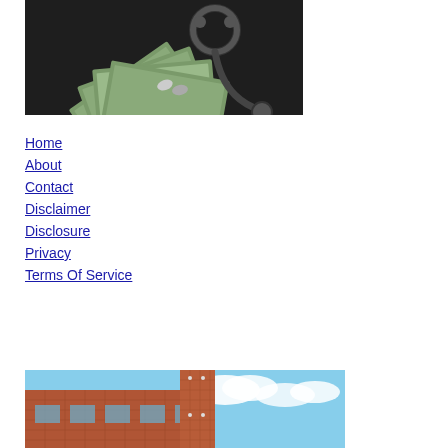[Figure (photo): Photo of stethoscope and US dollar bills fanned out on dark background]
Home
About
Contact
Disclaimer
Disclosure
Privacy
Terms Of Service
[Figure (photo): Photo of brick building exterior with blue sky and clouds]